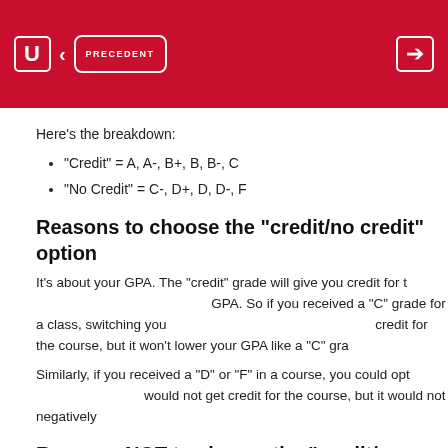U < PRECEDENT
Here's the breakdown:
“Credit” = A, A-, B+, B, B-, C
“No Credit” = C-, D+, D, D-, F
Reasons to choose the “credit/no credit” option
It’s about your GPA. The “credit” grade will give you credit for the course without affecting your GPA. So if you received a “C” grade for a class, switching your grade to “credit” means you’ll get credit for the course, but it won’t lower your GPA like a “C” grade would.
Similarly, if you received a “D” or “F” in a course, you could opt for “no credit” — you would not get credit for the course, but it would not negatively affect your GPA.
Reasons NOT to choose the “credit/no credit” option
A “credit/no credit” grade option will not work in every case, and you should review your options with your academic advisor to make sure you make the best decision.